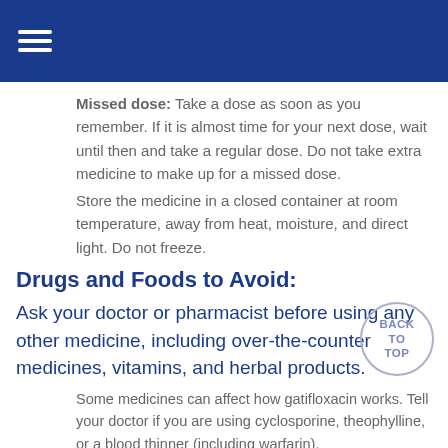☰
Missed dose: Take a dose as soon as you remember. If it is almost time for your next dose, wait until then and take a regular dose. Do not take extra medicine to make up for a missed dose.
Store the medicine in a closed container at room temperature, away from heat, moisture, and direct light. Do not freeze.
Drugs and Foods to Avoid:
Ask your doctor or pharmacist before using any other medicine, including over-the-counter medicines, vitamins, and herbal products.
Some medicines can affect how gatifloxacin works. Tell your doctor if you are using cyclosporine, theophylline, or a blood thinner (including warfarin).
Warnings While Using This Medicine: